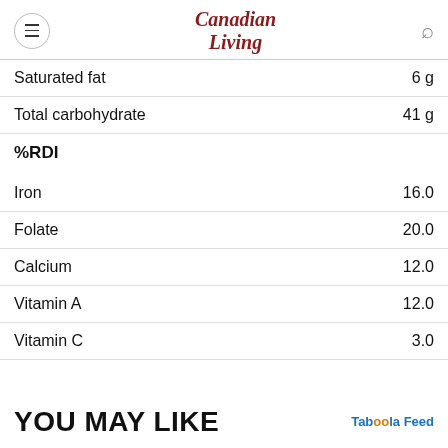Canadian Living
| Nutrient | Amount |
| --- | --- |
| Saturated fat | 6 g |
| Total carbohydrate | 41 g |
| %RDI |  |
| Iron | 16.0 |
| Folate | 20.0 |
| Calcium | 12.0 |
| Vitamin A | 12.0 |
| Vitamin C | 3.0 |
YOU MAY LIKE
Taboola Feed